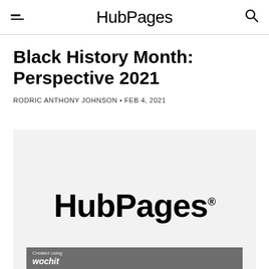HubPages
Black History Month: Perspective 2021
RODRIC ANTHONY JOHNSON • FEB 4, 2021
[Figure (logo): HubPages logo with registered trademark symbol on a light gray background, with a wochit watermark bar at the bottom]